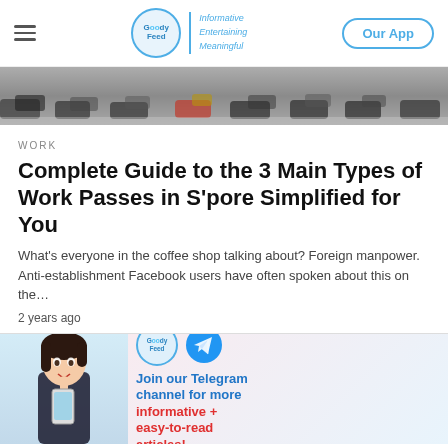Goody Feed | Informative Entertaining Meaningful | Our App
[Figure (photo): Cropped photo showing feet and lower legs of multiple people walking on a street or pedestrian crossing, viewed from ground level.]
WORK
Complete Guide to the 3 Main Types of Work Passes in S'pore Simplified for You
What's everyone in the coffee shop talking about? Foreign manpower. Anti-establishment Facebook users have often spoken about this on the…
2 years ago
[Figure (infographic): Goody Feed Telegram channel advertisement banner. Features a woman with surprised expression holding a phone, Goody Feed logo, Telegram icon, and text: 'Join our Telegram channel for more informative + easy-to-read articles!']